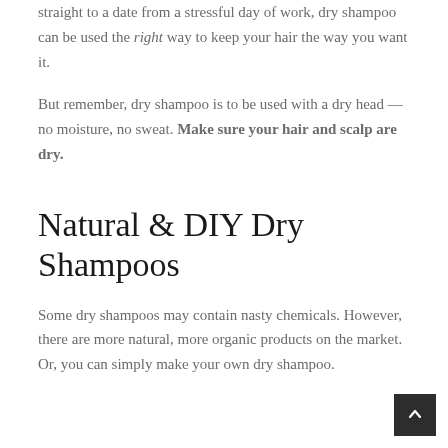straight to a date from a stressful day of work, dry shampoo can be used the right way to keep your hair the way you want it.
But remember, dry shampoo is to be used with a dry head — no moisture, no sweat. Make sure your hair and scalp are dry.
Natural & DIY Dry Shampoos
Some dry shampoos may contain nasty chemicals. However, there are more natural, more organic products on the market. Or, you can simply make your own dry shampoo.